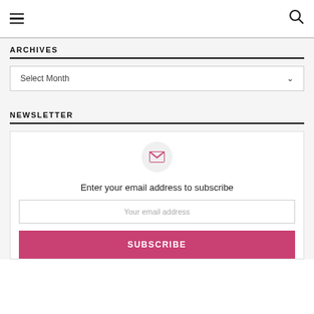☰ [hamburger menu] | [search icon]
ARCHIVES
Select Month
NEWSLETTER
[Figure (illustration): Mail envelope icon in a circle, above newsletter subscription form]
Enter your email address to subscribe
Your email address
SUBSCRIBE